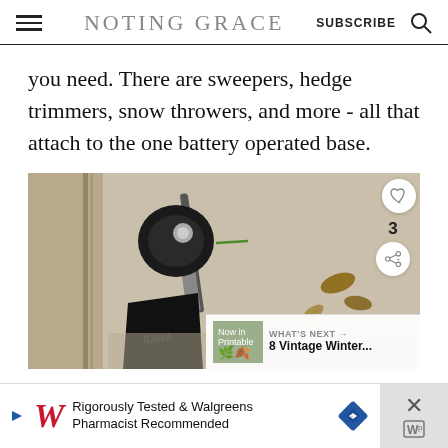NOTING GRACE  SUBSCRIBE
you need. There are sweepers, hedge trimmers, snow throwers, and more - all that attach to the one battery operated base.
[Figure (photo): Close-up photo of a battery-operated string trimmer/weed eater head against a concrete surface, showing the black trimmer head and metal shaft with green trimmer line visible]
WHAT'S NEXT → 8 Vintage Winter...
Rigorously Tested & Walgreens Pharmacist Recommended